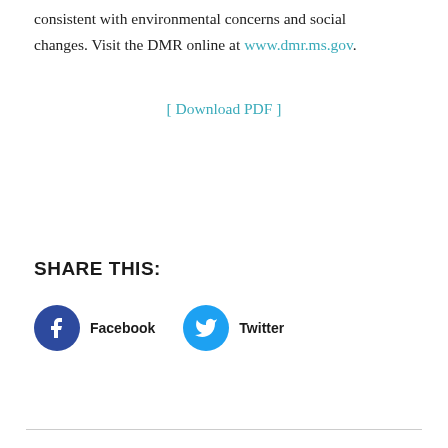consistent with environmental concerns and social changes. Visit the DMR online at www.dmr.ms.gov.
[ Download PDF ]
SHARE THIS:
Facebook
Twitter